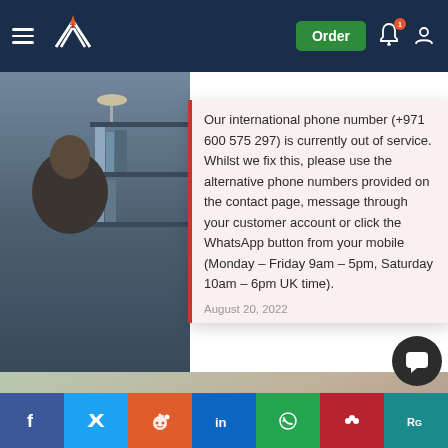Navigation header with logo, Order button, notification and account icons
[Figure (screenshot): Background photo of person at desk with lamp and shelves]
Dissertation
From £124
Our international phone number (+971 600 575 297) is currently out of service. Whilst we fix this, please use the alternative phone numbers provided on the contact page, message through your customer account or click the WhatsApp button from your mobile (Monday – Friday 9am – 5pm, Saturday 10am – 6pm UK time).
August 20, 2022
[Figure (photo): Woman with curly red hair looking down at tablet/book near a plant]
Social share bar: Facebook, Twitter, Reddit, LinkedIn, WhatsApp, Mendeley, ResearchGate